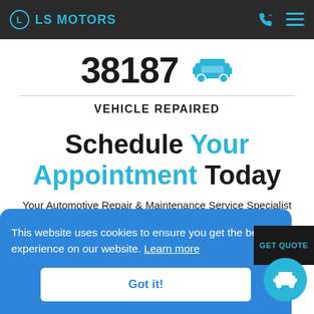LS MOTORS
38187
VEHICLE REPAIRED
Schedule Your Appointment Today
Your Automotive Repair & Maintenance Service Specialist
This website uses cookies to ensure you get the best experience on our website. Learn more
Got it!